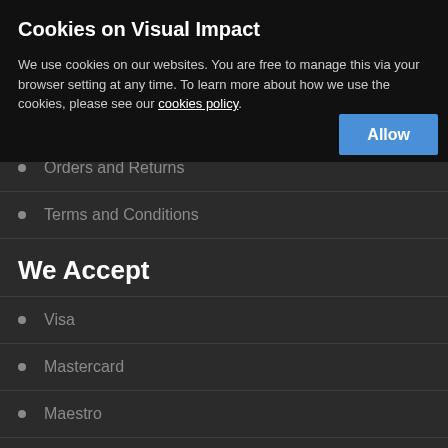Customer Service
Shipping and Delivery
Privacy Policy
Orders and Returns
Terms and Conditions
We Accept
Visa
Mastercard
Maestro
Cookies on Visual Impact
We use cookies on our websites. You are free to manage this via your browser setting at any time. To learn more about how we use the cookies, please see our cookies policy.